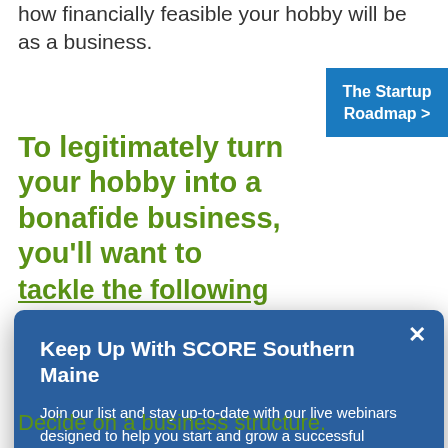how financially feasible your hobby will be as a business.
The Startup Roadmap >
To legitimately turn your hobby into a bonafide business, you'll want to tackle the following tasks:
...ry of ...o ...ame ...py doing a trademark search to make sure no one has already filed for a trademark on the name.
[Figure (screenshot): Modal popup: Keep Up With SCORE Southern Maine - Join our list and stay up-to-date with our live webinars designed to help you start and grow a successful business. Email address input and SUBMIT button.]
Decide on a business structure.